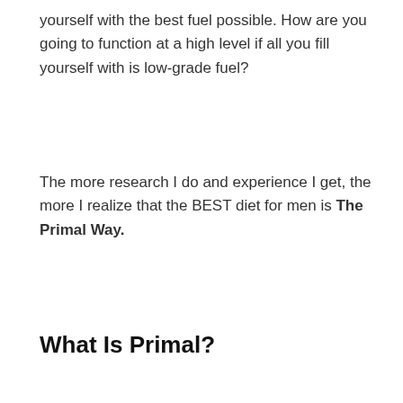yourself with the best fuel possible. How are you going to function at a high level if all you fill yourself with is low-grade fuel?
The more research I do and experience I get, the more I realize that the BEST diet for men is The Primal Way.
What Is Primal?